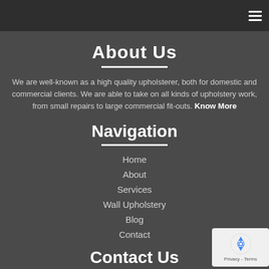About Us
We are well-known as a high quality upholsterer, both for domestic and commercial clients. We are able to take on all kinds of upholstery work, from small repairs to large commercial fit-outs. Know More
Navigation
Home
About
Services
Wall Upholstery
Blog
Contact
Contact Us
[Figure (logo): reCAPTCHA badge with recycling arrow logo and Privacy - Terms text]